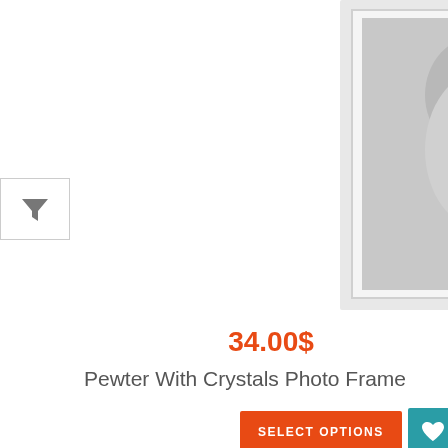[Figure (photo): Photo frame product image showing a couple embracing, displayed in a white/silver frame with crystal details — top portion of product card]
34.00$
Pewter With Crystals Photo Frame
[Figure (screenshot): UI buttons: orange SELECT OPTIONS button, teal heart icon button, teal checkmark icon button]
[Figure (photo): Second photo frame product image showing feathers artwork in a dark wood frame, partially visible at bottom]
Leave a message